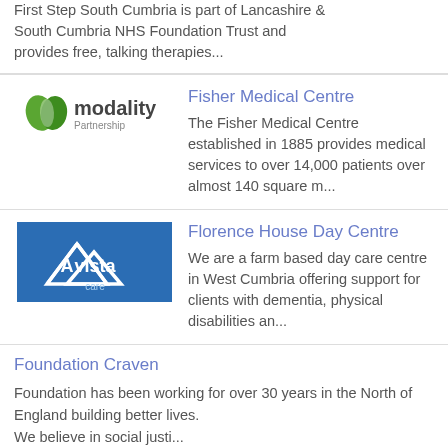First Step South Cumbria is part of Lancashire & South Cumbria NHS Foundation Trust and provides free, talking therapies...
Fisher Medical Centre
[Figure (logo): Modality Partnership logo - green leaf/chevron icon with 'modality' text and 'Partnership' underneath]
The Fisher Medical Centre established in 1885 provides medical services to over 14,000 patients over almost 140 square m...
Florence House Day Centre
[Figure (logo): Avista Care logo - blue background with white mountain/peak graphic and 'Avista care' text]
We are a farm based day care centre in West Cumbria offering support for clients with dementia, physical disabilities an...
Foundation Craven
Foundation has been working for over 30 years in the North of England building better lives.
We believe in social justi...
Furness Carers